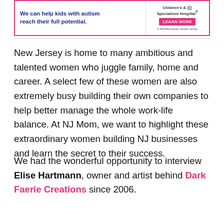[Figure (other): Advertisement banner for Children's Specialized Hospital with text 'We can help kids with autism reach their full potential.' and a LEARN MORE button]
New Jersey is home to many ambitious and talented women who juggle family, home and career. A select few of these women are also extremely busy building their own companies to help better manage the whole work-life balance. At NJ Mom, we want to highlight these extraordinary women building NJ businesses and learn the secret to their success.
We had the wonderful opportunity to interview Elise Hartmann, owner and artist behind Dark Faerie Creations since 2006.